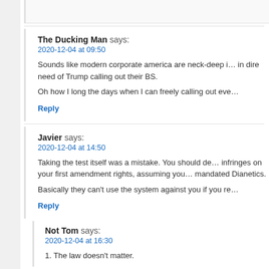The Ducking Man says:
2020-12-04 at 09:50

Sounds like modern corporate america are neck-deep in dire need of Trump calling out their BS.

Oh how I long the days when I can freely calling out eve…

Reply
Javier says:
2020-12-04 at 14:50

Taking the test itself was a mistake. You should de… infringes on your first amendment rights, assuming you… mandated Dianetics.

Basically they can't use the system against you if you re…

Reply
Not Tom says:
2020-12-04 at 16:30

1. The law doesn't matter.